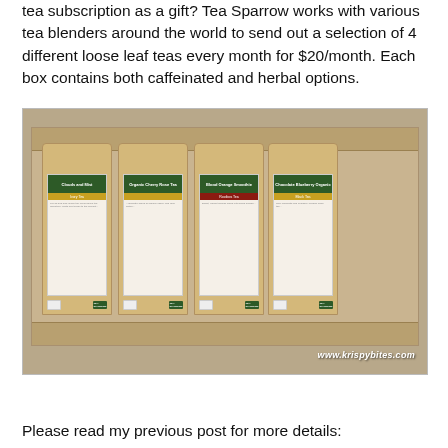tea subscription as a gift? Tea Sparrow works with various tea blenders around the world to send out a selection of 4 different loose leaf teas every month for $20/month. Each box contains both caffeinated and herbal options.
[Figure (photo): Photo of four kraft paper tea packets arranged in an open cardboard box, each with a green Tea Sparrow branded label. The packets are labeled Clouds and Mist, Organic Cherry Rose Tea, Blood Orange Smoothie, and Chocolate Blueberry Organic. A watermark reads www.krispybites.com.]
Please read my previous post for more details: